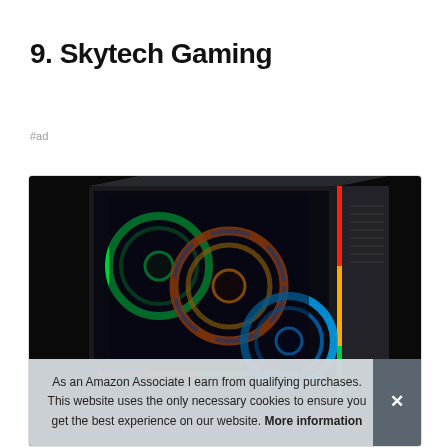9. Skytech Gaming
#ad
[Figure (photo): Skytech Gaming PC with RGB fans visible through tempered glass side panel, showing colorful LED lighting on fans and interior components against a dark case]
As an Amazon Associate I earn from qualifying purchases. This website uses the only necessary cookies to ensure you get the best experience on our website. More information